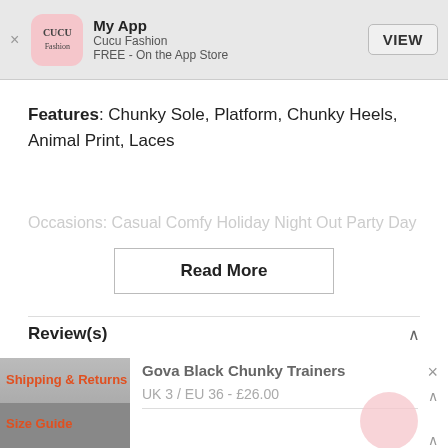[Figure (screenshot): App banner with CUCU Fashion logo, app name 'My App', 'Cucu Fashion', 'FREE - On the App Store', and a VIEW button]
Features: Chunky Sole, Platform, Chunky Heels, Animal Print, Laces
Occasions: Casual Comfy Holiday Night Out Party Day
Read More
Review(s)
Gova Black Chunky Trainers
UK 3 / EU 36 - £26.00
Shipping & Returns
Size Guide